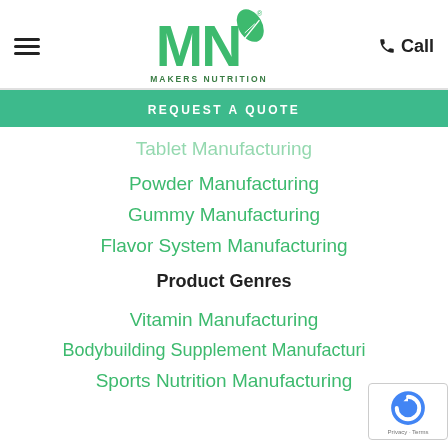Makers Nutrition — hamburger menu, logo, call button
REQUEST A QUOTE
Tablet Manufacturing
Powder Manufacturing
Gummy Manufacturing
Flavor System Manufacturing
Product Genres
Vitamin Manufacturing
Bodybuilding Supplement Manufacturing
Sports Nutrition Manufacturing